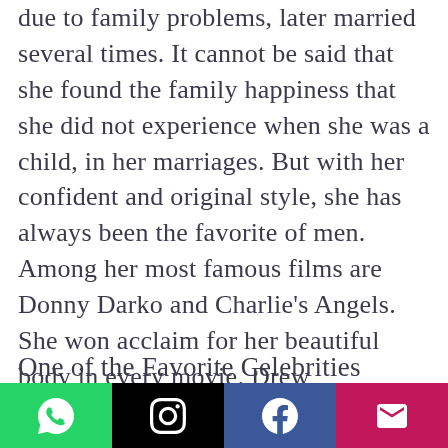due to family problems, later married several times. It cannot be said that she found the family happiness that she did not experience when she was a child, in her marriages. But with her confident and original style, she has always been the favorite of men. Among her most famous films are Donny Darko and Charlie's Angels. She won acclaim for her beautiful body in every movie. Drew Barrymore is one of the famous names who have no regrets about having breast surgery.
One of the Favorite Celebrities
[Figure (infographic): Social media sharing buttons: WhatsApp (green), Instagram (black), Facebook (dark blue), Email (pink/magenta)]